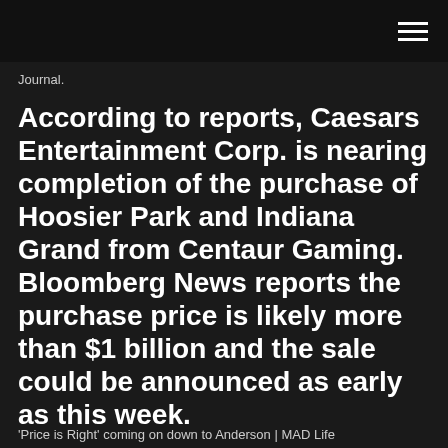Journal.
According to reports, Caesars Entertainment Corp. is nearing completion of the purchase of Hoosier Park and Indiana Grand from Centaur Gaming. Bloomberg News reports the purchase price is likely more than $1 billion and the sale could be announced as early as this week.
'Price is Right' coming on down to Anderson | MAD Life